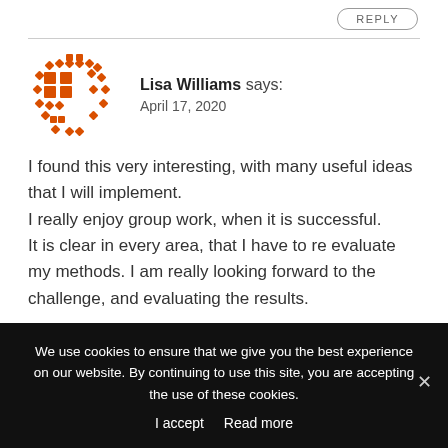REPLY
[Figure (illustration): Circular avatar icon made of orange/red diamond and square pixel shapes arranged in a circular pattern]
Lisa Williams says:
April 17, 2020
I found this very interesting, with many useful ideas that I will implement.
I really enjoy group work, when it is successful.
It is clear in every area, that I have to re evaluate my methods. I am really looking forward to the challenge, and evaluating the results.
We use cookies to ensure that we give you the best experience on our website. By continuing to use this site, you are accepting the use of these cookies.
I accept  Read more